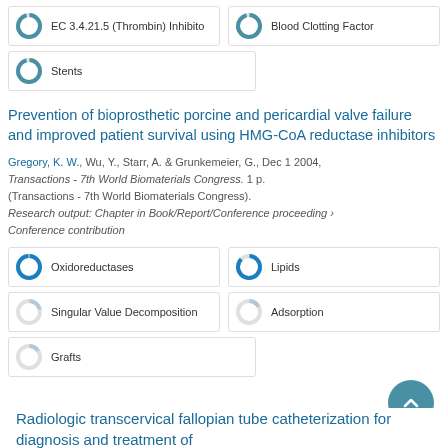[Figure (other): Tag box: EC 3.4.21.5 (Thrombin) Inhibitor with donut progress icon, ~100%]
[Figure (other): Tag box: Blood Clotting Factor with donut progress icon, ~100%]
[Figure (other): Tag box: Stents with donut progress icon, ~100%]
Prevention of bioprosthetic porcine and pericardial valve failure and improved patient survival using HMG-CoA reductase inhibitors
Gregory, K. W., Wu, Y., Starr, A. & Grunkemeier, G., Dec 1 2004, Transactions - 7th World Biomaterials Congress. 1 p. (Transactions - 7th World Biomaterials Congress). Research output: Chapter in Book/Report/Conference proceeding › Conference contribution
[Figure (other): Tag box: Oxidoreductases with donut progress icon ~100%]
[Figure (other): Tag box: Lipids with donut progress icon ~90%]
[Figure (other): Tag box: Singular Value Decomposition with donut progress icon ~20%]
[Figure (other): Tag box: Adsorption with donut progress icon ~15%]
[Figure (other): Tag box: Grafts with donut progress icon ~15%]
Radiologic transcervical fallopian tube catheterization for diagnosis and treatment of